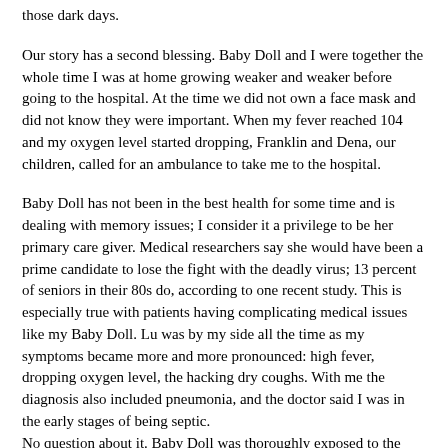those dark days.
Our story has a second blessing. Baby Doll and I were together the whole time I was at home growing weaker and weaker before going to the hospital. At the time we did not own a face mask and did not know they were important. When my fever reached 104 and my oxygen level started dropping, Franklin and Dena, our children, called for an ambulance to take me to the hospital.
Baby Doll has not been in the best health for some time and is dealing with memory issues; I consider it a privilege to be her primary care giver. Medical researchers say she would have been a prime candidate to lose the fight with the deadly virus; 13 percent of seniors in their 80s do, according to one recent study. This is especially true with patients having complicating medical issues like my Baby Doll. Lu was by my side all the time as my symptoms became more and more pronounced: high fever, dropping oxygen level, the hacking dry coughs. With me the diagnosis also included pneumonia, and the doctor said I was in the early stages of being septic.
No question about it. Baby Doll was thoroughly exposed to the virus, and so were Dena and Franklin, but the virus never struck Lu or our children. In fact, neither Lu nor the children to this day, over a month later, have had even one of those symptoms – not one. The children are our third miracle.